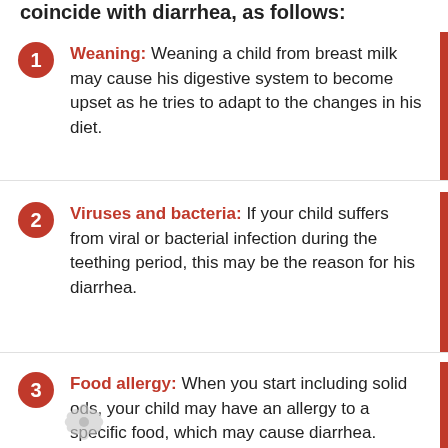coincide with diarrhea, as follows:
Weaning: Weaning a child from breast milk may cause his digestive system to become upset as he tries to adapt to the changes in his diet.
Viruses and bacteria: If your child suffers from viral or bacterial infection during the teething period, this may be the reason for his diarrhea.
Food allergy: When you start including solid foods, your child may have an allergy to a specific food, which may cause diarrhea.